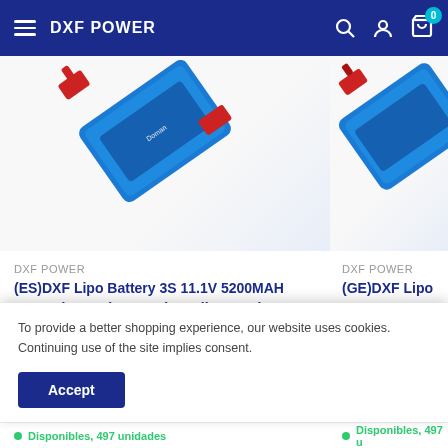DXF POWER
[Figure (screenshot): Product image of DXF Lipo Battery, left card, partially cropped]
DXF POWER
(ES)DXF Lipo Battery 3S 11.1V 5200MAH 100C Blue Series Graphene lipo Hardcase with Deans Plug for Rc 1/8 1/10 Buggy Truck Car Off-Road Drone
[Figure (screenshot): Product image of DXF Lipo Battery, right card, partially cropped]
DXF POWER
(GE)DXF Lipo Battery 3S 11.1V 5200MAH 100C Blue Series Graphene lipo Hardcase with Deans Plug for Rc 1/8 1/10 Buggy Truck Car Off-Road
To provide a better shopping experience, our website uses cookies. Continuing use of the site implies consent.
Accept
Disponibles, 497 unidades
Disponibles, 497 u